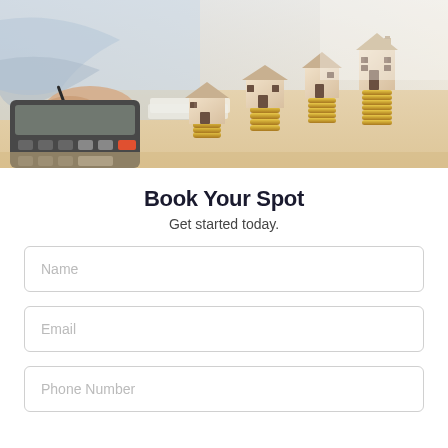[Figure (photo): Photo of person using a calculator with wooden house models of increasing size placed on stacks of gold coins arranged on a desk, symbolizing real estate investment growth.]
Book Your Spot
Get started today.
Name
Email
Phone Number